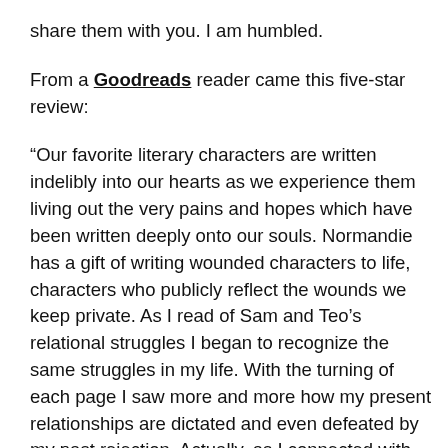share them with you. I am humbled.
From a Goodreads reader came this five-star review:
“Our favorite literary characters are written indelibly into our hearts as we experience them living out the very pains and hopes which have been written deeply onto our souls. Normandie has a gift of writing wounded characters to life, characters who publicly reflect the wounds we keep private. As I read of Sam and Teo’s relational struggles I began to recognize the same struggles in my life. With the turning of each page I saw more and more how my present relationships are dictated and even defeated by my past rejection. Actually, as I connected with Sam I realized that I most likely became a “water person” due to past relational rejection. My boat is my safe refuge from destructive people and pain, but Sam story encouraged me to put my